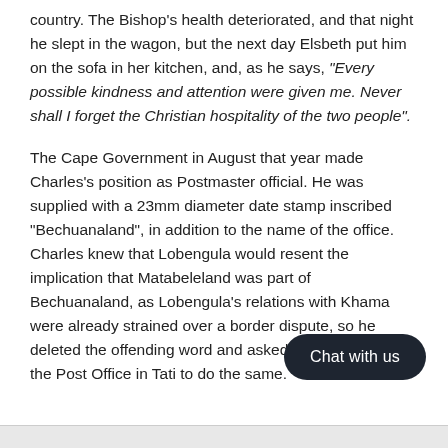country. The Bishop's health deteriorated, and that night he slept in the wagon, but the next day Elsbeth put him on the sofa in her kitchen, and, as he says, "Every possible kindness and attention were given me. Never shall I forget the Christian hospitality of the two people".
The Cape Government in August that year made Charles's position as Postmaster official. He was supplied with a 23mm diameter date stamp inscribed "Bechuanaland", in addition to the name of the office. Charles knew that Lobengula would resent the implication that Matabeleland was part of Bechuanaland, as Lobengula's relations with Khama were already strained over a border dispute, so he deleted the offending word and asked Sam Edwards at the Post Office in Tati to do the same.